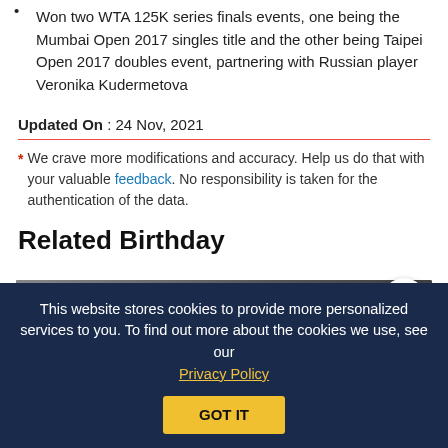Won two WTA 125K series finals events, one being the Mumbai Open 2017 singles title and the other being Taipei Open 2017 doubles event, partnering with Russian player Veronika Kudermetova
Updated On : 24 Nov, 2021
* We crave more modifications and accuracy. Help us do that with your valuable feedback. No responsibility is taken for the authentication of the data.
Related Birthday
[Figure (photo): Photo of a woman with dark hair, another person partially visible behind her, dark background]
This website stores cookies to provide more personalized services to you. To find out more about the cookies we use, see our Privacy Policy
GOT IT